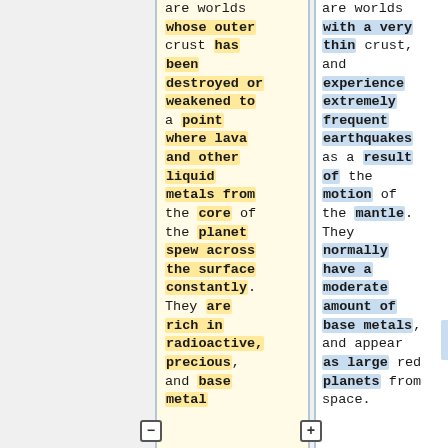are worlds whose outer crust has been destroyed or weakened to a point where lava and other liquid metals from the core of the planet spew across the surface constantly. They are rich in radioactive, precious, and base metal
are worlds with a very thin crust, and experience extremely frequent earthquakes as a result of the motion of the mantle. They normally have a moderate amount of base metals, and appear as large red planets from space.